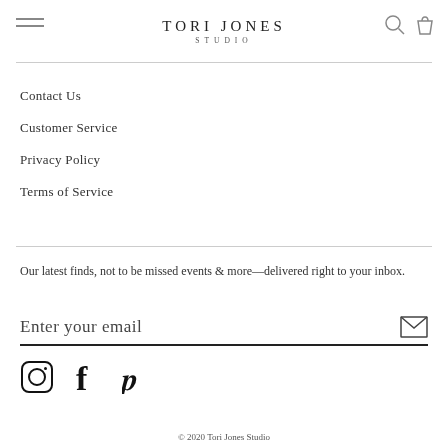TORI JONES STUDIO
Contact Us
Customer Service
Privacy Policy
Terms of Service
Our latest finds, not to be missed events & more—delivered right to your inbox.
Enter your email
[Figure (other): Social media icons: Instagram, Facebook, Pinterest]
© 2020 Tori Jones Studio